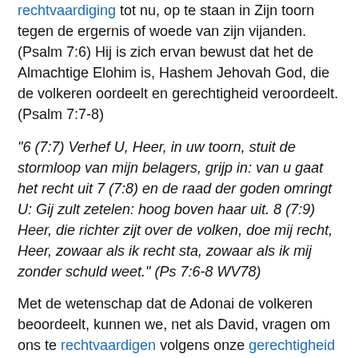rechtvaardiging tot nu, op te staan in Zijn toorn tegen de ergernis of woede van zijn vijanden. (Psalm 7:6) Hij is zich ervan bewust dat het de Almachtige Elohim is, Hashem Jehovah God, die de volkeren oordeelt en gerechtigheid veroordeelt. (Psalm 7:7-8)
"6 (7:7) Verhef U, Heer, in uw toorn, stuit de stormloop van mijn belagers, grijp in: van u gaat het recht uit 7 (7:8) en de raad der goden omringt U: Gij zult zetelen: hoog boven haar uit. 8 (7:9) Heer, die richter zijt over de volken, doe mij recht, Heer, zowaar als ik recht sta, zowaar als ik mij zonder schuld weet." (Ps 7:6-8 WV78)
Met de wetenschap dat de Adonai de volkeren beoordeelt, kunnen we, net als David, vragen om ons te rechtvaardigen volgens onze gerechtigheid en integriteit in ons, zoals onze rechtschapenheid en betrouwbaarheid verdiont. (Psalm 7:8)